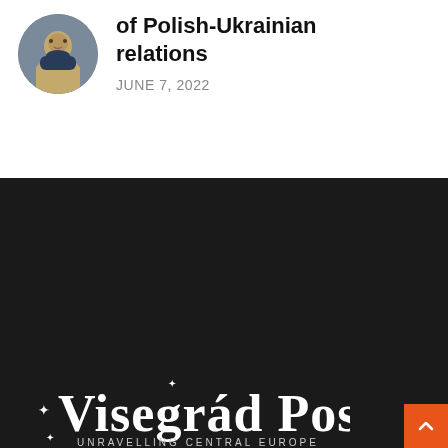[Figure (photo): Circular avatar photo of a person]
of Polish-Ukrainian relations
JUNE 7, 2022
[Figure (logo): Visegrád Post logo — 'VISEGRÁD POST UNRAVELLING CENTRAL EUROPE' in white text on dark background with star decorations]
About us
Writers
Support Us
Our Partners
Legal Disclaimers